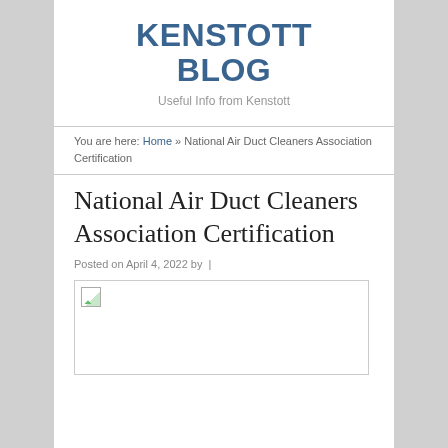KENSTOTT BLOG
Useful Info from Kenstott
You are here: Home » National Air Duct Cleaners Association Certification
National Air Duct Cleaners Association Certification
Posted on April 4, 2022 by |
[Figure (photo): Broken image placeholder for article content]